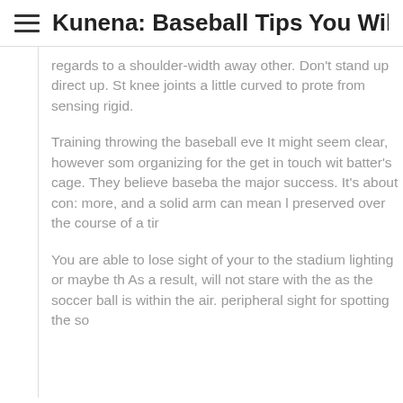Kunena: Baseball Tips You Wil...
regards to a shoulder-width away other. Don't stand up direct up. St knee joints a little curved to prote from sensing rigid.
Training throwing the baseball eve It might seem clear, however som organizing for the get in touch wit batter's cage. They believe baseba the major success. It's about con: more, and a solid arm can mean l preserved over the course of a tir
You are able to lose sight of your to the stadium lighting or maybe th As a result, will not stare with the as the soccer ball is within the air. peripheral sight for spotting the so